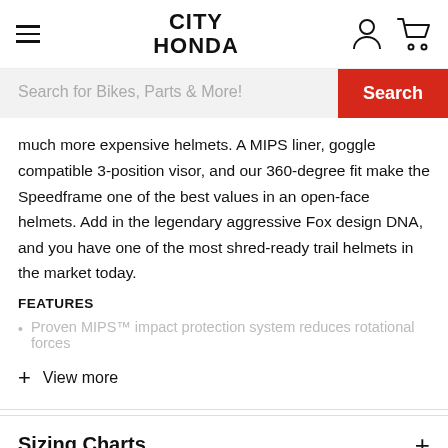CITY HONDA
Search for Bikes, Parts & More!
much more expensive helmets. A MIPS liner, goggle compatible 3-position visor, and our 360-degree fit make the Speedframe one of the best values in an open-face helmets. Add in the legendary aggressive Fox design DNA, and you have one of the most shred-ready trail helmets in the market today.
FEATURES
Proven MIPS™ impact protection system reduces rotational forces
+ View more
Sizing Charts